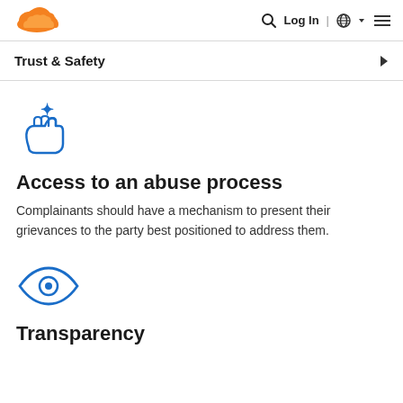[Figure (logo): Cloudflare orange cloud logo]
Log In | 🌐 ≡
Trust & Safety
[Figure (illustration): Blue icon of a hand receiving a star/sparkle — representing abuse process]
Access to an abuse process
Complainants should have a mechanism to present their grievances to the party best positioned to address them.
[Figure (illustration): Blue eye icon — representing transparency]
Transparency